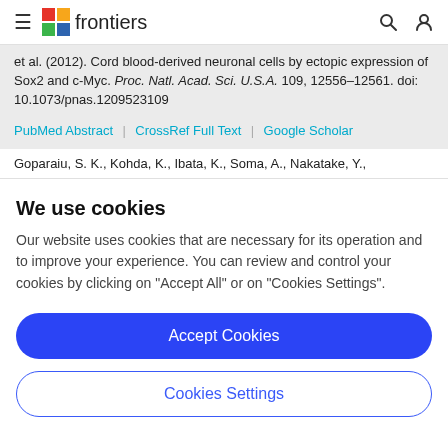frontiers
et al. (2012). Cord blood-derived neuronal cells by ectopic expression of Sox2 and c-Myc. Proc. Natl. Acad. Sci. U.S.A. 109, 12556–12561. doi: 10.1073/pnas.1209523109
PubMed Abstract | CrossRef Full Text | Google Scholar
Goparaiu, S. K., Kohda, K., Ibata, K., Soma, A., Nakatake, Y.,
We use cookies
Our website uses cookies that are necessary for its operation and to improve your experience. You can review and control your cookies by clicking on "Accept All" or on "Cookies Settings".
Accept Cookies
Cookies Settings